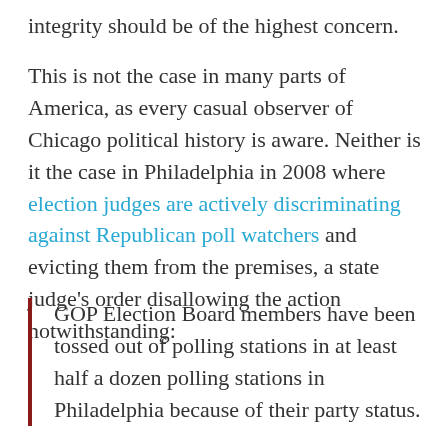integrity should be of the highest concern.
This is not the case in many parts of America, as every casual observer of Chicago political history is aware. Neither is it the case in Philadelphia in 2008 where election judges are actively discriminating against Republican poll watchers and evicting them from the premises, a state judge’s order disallowing the action notwithstanding:
GOP Election Board members have been tossed out of polling stations in at least half a dozen polling stations in Philadelphia because of their party status.